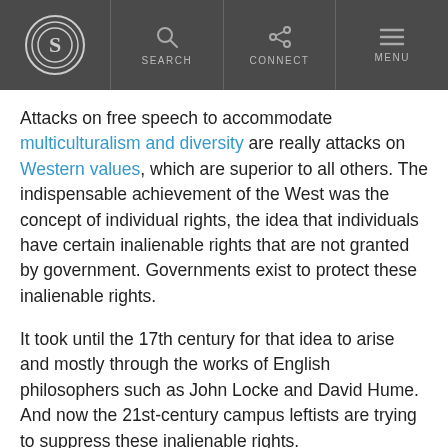S logo | SEARCH | CONNECT | MENU
Attacks on free speech to accommodate multiculturalism and diversity are really attacks on Western values, which are superior to all others. The indispensable achievement of the West was the concept of individual rights, the idea that individuals have certain inalienable rights that are not granted by government. Governments exist to protect these inalienable rights.
It took until the 17th century for that idea to arise and mostly through the works of English philosophers such as John Locke and David Hume. And now the 21st-century campus leftists are trying to suppress these inalienable rights.